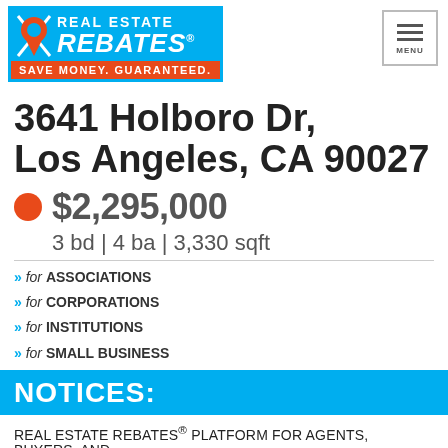[Figure (logo): Real Estate Rebates logo with map pin icon, blue background, orange tagline 'SAVE MONEY. GUARANTEED.' and menu button]
3641 Holboro Dr, Los Angeles, CA 90027
$2,295,000
3 bd | 4 ba | 3,330 sqft
» for ASSOCIATIONS
» for CORPORATIONS
» for INSTITUTIONS
» for SMALL BUSINESS
NOTICES:
REAL ESTATE REBATES® PLATFORM FOR AGENTS, BUYERS, AND